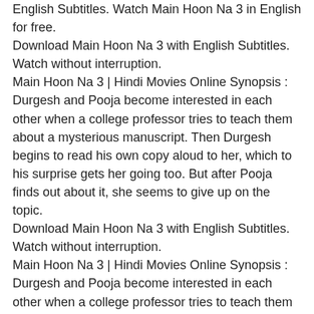English Subtitles. Watch Main Hoon Na 3 in English for free.
Download Main Hoon Na 3 with English Subtitles. Watch without interruption.
Main Hoon Na 3 | Hindi Movies Online Synopsis :
Durgesh and Pooja become interested in each other when a college professor tries to teach them about a mysterious manuscript. Then Durgesh begins to read his own copy aloud to her, which to his surprise gets her going too. But after Pooja finds out about it, she seems to give up on the topic.
Download Main Hoon Na 3 with English Subtitles. Watch without interruption.
Main Hoon Na 3 | Hindi Movies Online Synopsis :
Durgesh and Pooja become interested in each other when a college professor tries to teach them about a mysterious manuscript. Then Durgesh begins to read his own copy aloud to her, which to his surprise gets her